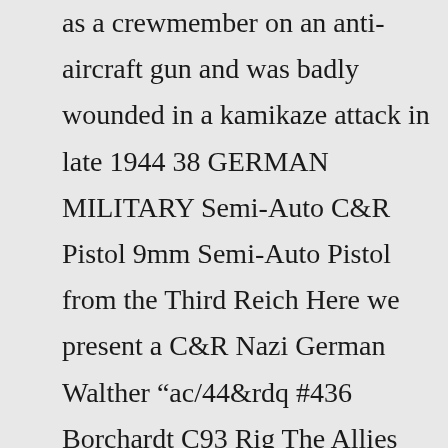as a crewmember on an anti-aircraft gun and was badly wounded in a kamikaze attack in late 1944 38 GERMAN MILITARY Semi-Auto C&R Pistol 9mm Semi-Auto Pistol from the Third Reich Here we present a C&R Nazi German Walther “ac/44&rdq #436 Borchardt C93 Rig The Allies produced their versions by John Inglis and Company in Canada The MP40 (and MP38) is often referred to as a